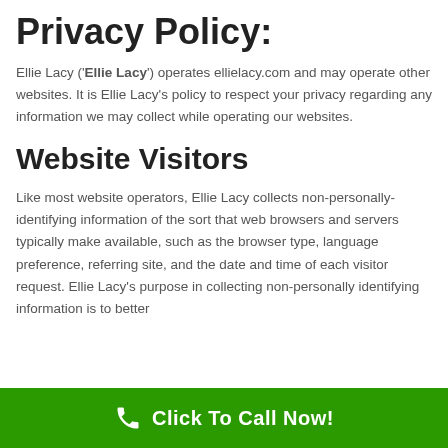Privacy Policy:
Ellie Lacy ('Ellie Lacy') operates ellielacy.com and may operate other websites. It is Ellie Lacy's policy to respect your privacy regarding any information we may collect while operating our websites.
Website Visitors
Like most website operators, Ellie Lacy collects non-personally-identifying information of the sort that web browsers and servers typically make available, such as the browser type, language preference, referring site, and the date and time of each visitor request. Ellie Lacy's purpose in collecting non-personally identifying information is to better
Click To Call Now!